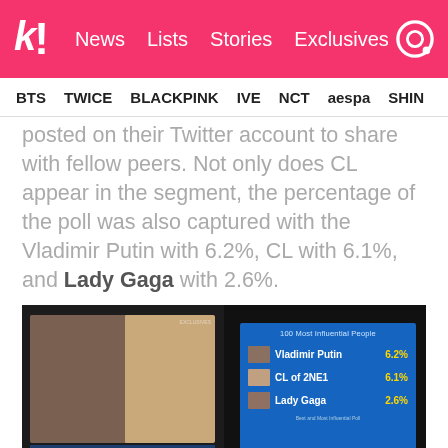Koreaboo | News  Lists  Stories  Exclusives
BTS  TWICE  BLACKPINK  IVE  NCT  aespa  SHINE
posted on their Twitter account to share with fellow peers. Not only does CL appear in the segment, the percentage of the poll was also captured with the Vladimir Putin with 6.2%, CL with 6.1%, and Lady Gaga with 2.6%.
[Figure (photo): Two TV screens side by side. Left screen shows Vladimir Putin and CL (2NE1) with text 'Readers of Time Magazine Voting For 100 Most Influential People'. Right screen shows a blue poll graphic titled '100 Most Influential People' listing Vladimir Putin 6.2%, CL of 2NE1 6.1%, Lady Gaga 2.6%.]